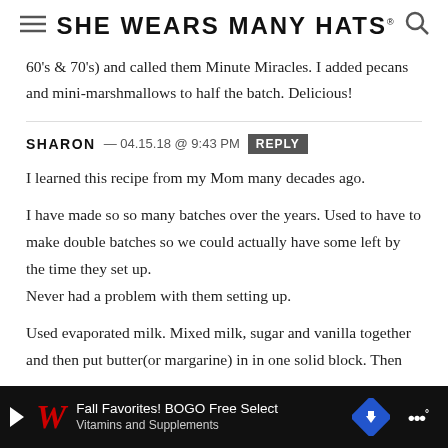SHE WEARS MANY HATS
60's & 70's) and called them Minute Miracles. I added pecans and mini-marshmallows to half the batch. Delicious!
SHARON — 04.15.18 @ 9:43 PM REPLY
I learned this recipe from my Mom many decades ago.
I have made so so many batches over the years. Used to have to make double batches so we could actually have some left by the time they set up.
Never had a problem with them setting up.
Used evaporated milk. Mixed milk, sugar and vanilla together and then put butter(or margarine) in in one solid block. Then sti[...] g the bu[...] ne into the
Fall Favorites! BOGO Free Select Vitamins and Supplements